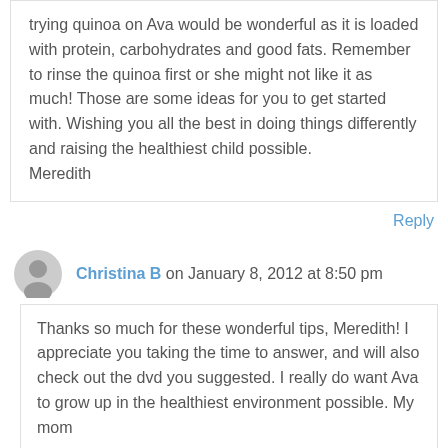trying quinoa on Ava would be wonderful as it is loaded with protein, carbohydrates and good fats. Remember to rinse the quinoa first or she might not like it as much! Those are some ideas for you to get started with. Wishing you all the best in doing things differently and raising the healthiest child possible.
Meredith
Reply
Christina B on January 8, 2012 at 8:50 pm
Thanks so much for these wonderful tips, Meredith! I appreciate you taking the time to answer, and will also check out the dvd you suggested. I really do want Ava to grow up in the healthiest environment possible. My mom